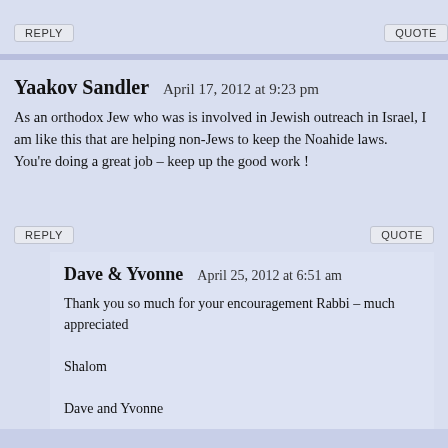REPLY
QUOTE
Yaakov Sandler   April 17, 2012 at 9:23 pm
As an orthodox Jew who was is involved in Jewish outreach in Israel, I am like this that are helping non-Jews to keep the Noahide laws.
You're doing a great job – keep up the good work !
REPLY
QUOTE
Dave & Yvonne   April 25, 2012 at 6:51 am
Thank you so much for your encouragement Rabbi – much appreciated
Shalom
Dave and Yvonne